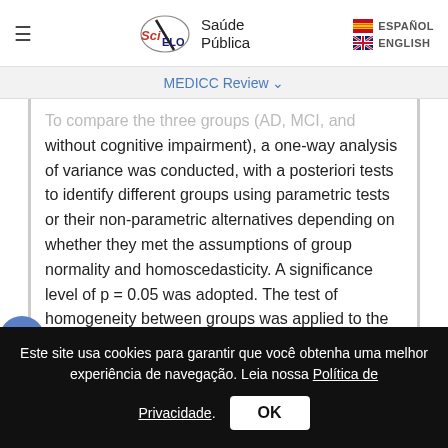≡  SciELO Saúde Pública   ESPAÑOL  ENGLISH
MEDICC Review ∨
To compare the three groups (AD, MCI, and without cognitive impairment), a one-way analysis of variance was conducted, with a posteriori tests to identify different groups using parametric tests or their non-parametric alternatives depending on whether they met the assumptions of group normality and homoscedasticity. A significance level of p = 0.05 was adopted. The test of homogeneity between groups was applied to the biochemical variables. The Pearson correlation was calculated as a measure of linear association
Este site usa cookies para garantir que você obtenha uma melhor experiência de navegação. Leia nossa Política de Privacidade.
OK